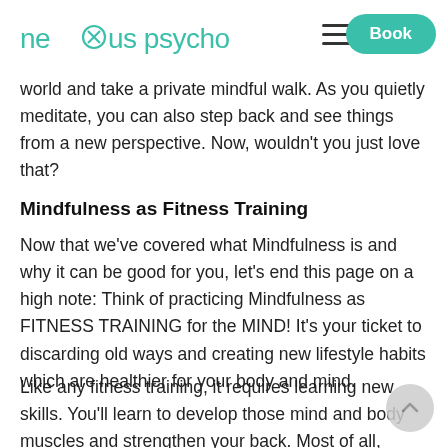nexus psychology — Book
world and take a private mindful walk. As you quietly meditate, you can also step back and see things from a new perspective. Now, wouldn't you just love that?
Mindfulness as Fitness Training
Now that we've covered what Mindfulness is and why it can be good for you, let's end this page on a high note: Think of practicing Mindfulness as FITNESS TRAINING for the MIND! It's your ticket to discarding old ways and creating new lifestyle habits which are healthier for your body and mind.
Like any fitness training, it requires learning new skills. You'll learn to develop those mind and body muscles and strengthen your back. Most of all, you've got to get to your core and improve your